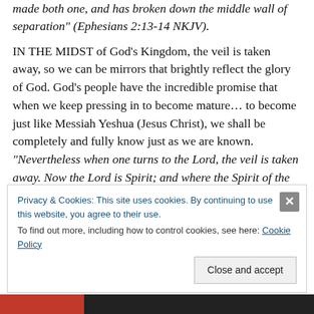made both one, and has broken down the middle wall of separation" (Ephesians 2:13-14 NKJV).
IN THE MIDST of God's Kingdom, the veil is taken away, so we can be mirrors that brightly reflect the glory of God. God's people have the incredible promise that when we keep pressing in to become mature… to become just like Messiah Yeshua (Jesus Christ), we shall be completely and fully know just as we are known. "Nevertheless when one turns to the Lord, the veil is taken away. Now the Lord is Spirit; and where the Spirit of the Lord is, there is liberty. But we all, with unveiled face, beholding as in a mirror the
Privacy & Cookies: This site uses cookies. By continuing to use this website, you agree to their use.
To find out more, including how to control cookies, see here: Cookie Policy
Close and accept